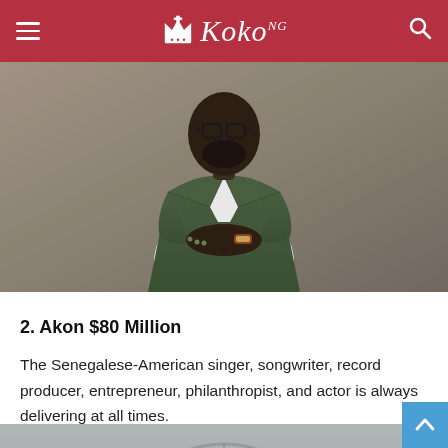Koko NG
[Figure (photo): A man wearing glasses and a dark green blazer over a white shirt, arms crossed, posing against a grey background. Appears to be a professional photo of Black Coffee or similar artist.]
2. Akon $80 Million
The Senegalese-American singer, songwriter, record producer, entrepreneur, philanthropist, and actor is always delivering at all times.
[Figure (photo): Partial photo of a person's head/face visible at bottom of page, appearing against a background with circular/wheel patterns in grey tones.]